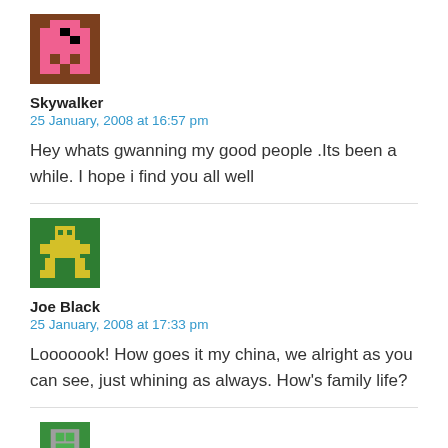[Figure (illustration): Pixel art avatar with pink character on brown background]
Skywalker
25 January, 2008 at 16:57 pm
Hey whats gwanning my good people .Its been a while. I hope i find you all well
[Figure (illustration): Pixel art avatar with yellow robot/character on green background]
Joe Black
25 January, 2008 at 17:33 pm
Looooook! How goes it my china, we alright as you can see, just whining as always. How's family life?
[Figure (illustration): Pixel art avatar partially visible at bottom, green and grey character]